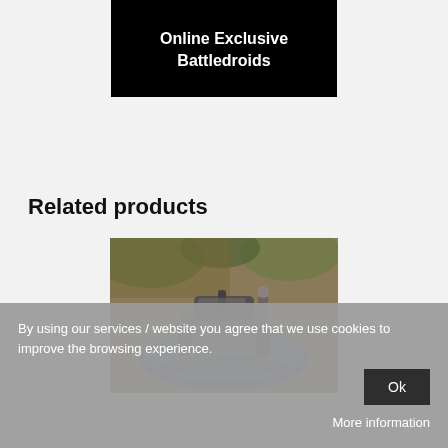[Figure (other): Black banner image with white bold text reading 'Online Exclusive Battledroids']
Related products
[Figure (photo): Close-up photo of a miniature wargaming model — a small metallic battledroid/tank model sitting on a blue painted base, with camouflage background visible]
By using our services / website you agree that we use cookies to improve the browsing experience.
Ok
More information